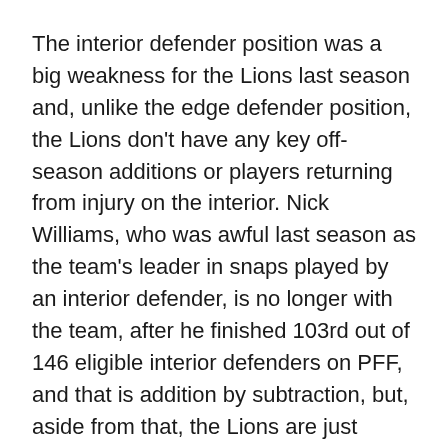The interior defender position was a big weakness for the Lions last season and, unlike the edge defender position, the Lions don't have any key off-season additions or players returning from injury on the interior. Nick Williams, who was awful last season as the team's leader in snaps played by an interior defender, is no longer with the team, after he finished 103rd out of 146 eligible interior defenders on PFF, and that is addition by subtraction, but, aside from that, the Lions are just hoping for more out of second year players Levi Onwuzurike and Alim McNeil, who they selected in the second and third round respectively last season.
Both were only rotational players as rookies last season and they saw similar snap counts, but McNeil actually played slightly more (422 vs. 396) and was the